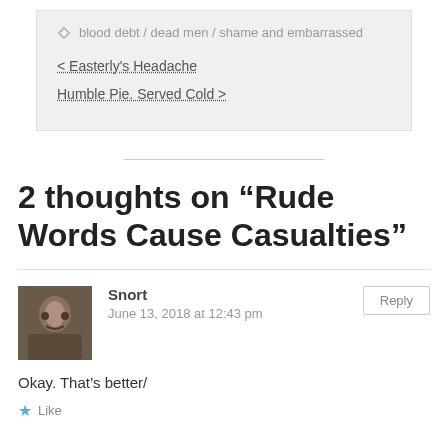blood debt / dead men / shame and embarrassed
< Easterly's Headache
Humble Pie. Served Cold >
2 thoughts on “Rude Words Cause Casualties”
Snort
June 13, 2018 at 12:43 pm
Okay. That’s better/
Like